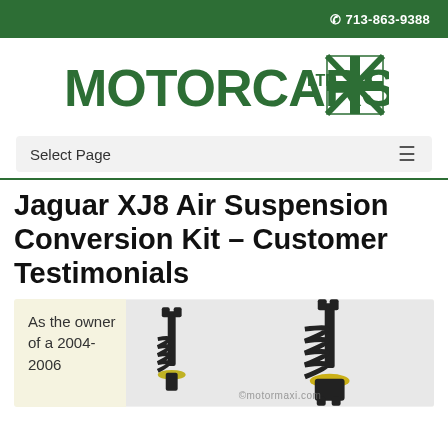713-863-9388
[Figure (logo): Motorcars Ltd logo with green bold text and UK flag graphic]
Select Page
Jaguar XJ8 Air Suspension Conversion Kit – Customer Testimonials
As the owner of a 2004-2006
[Figure (photo): Photo of two shock absorber / strut assemblies with coil springs, watermarked motormaxi.com]